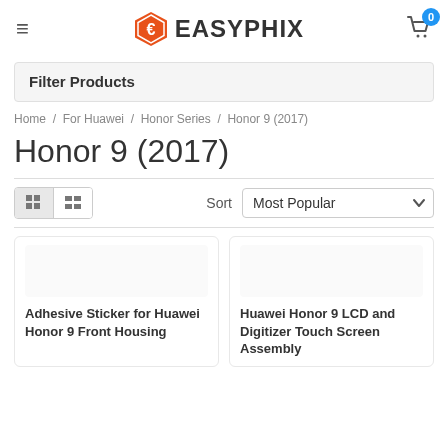EASYPHIX — navigation header with hamburger menu, logo, and cart (0 items)
Filter Products
Home / For Huawei / Honor Series / Honor 9 (2017)
Honor 9 (2017)
Sort Most Popular
Adhesive Sticker for Huawei Honor 9 Front Housing
Huawei Honor 9 LCD and Digitizer Touch Screen Assembly